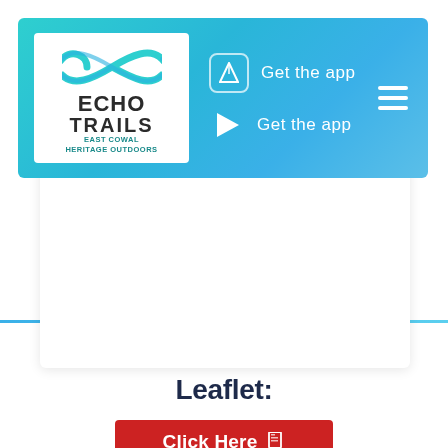[Figure (screenshot): Echo Trails website navigation bar with logo, App Store and Google Play 'Get the app' links, and hamburger menu icon on a teal gradient background]
Download the ECHO Trails Leaflet:
[Figure (screenshot): Red 'Click Here' button with document icon]